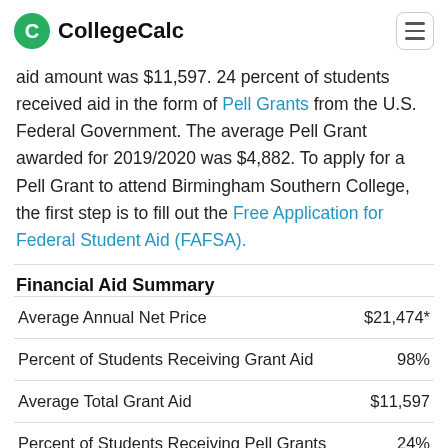CollegeCalc
aid amount was $11,597. 24 percent of students received aid in the form of Pell Grants from the U.S. Federal Government. The average Pell Grant awarded for 2019/2020 was $4,882. To apply for a Pell Grant to attend Birmingham Southern College, the first step is to fill out the Free Application for Federal Student Aid (FAFSA).
Financial Aid Summary
|  |  |
| --- | --- |
| Average Annual Net Price | $21,474* |
| Percent of Students Receiving Grant Aid | 98% |
| Average Total Grant Aid | $11,597 |
| Percent of Students Receiving Pell Grants | 24% |